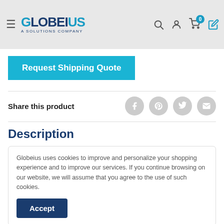Globeius — A Solutions Company
Request Shipping Quote
Share this product
Description
Globeius uses cookies to improve and personalize your shopping experience and to improve our services. If you continue browsing on our website, we will assume that you agree to the use of such cookies.
Accept
outlet of the circuit and turn on the pump. Regular